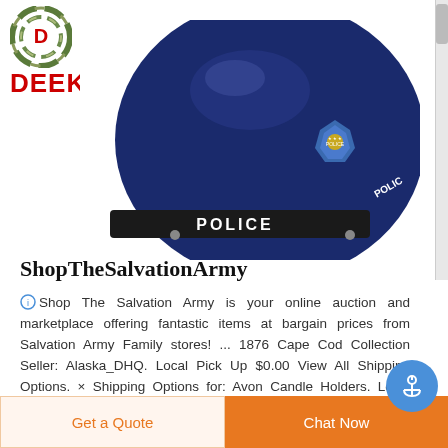[Figure (logo): DEEKON brand logo with circular camouflage-style icon and red bold text 'DEEKON']
[Figure (photo): Navy blue police helmet with 'POLICE' text on visor and a police department badge on the side]
ShopTheSalvationArmy
Shop The Salvation Army is your online auction and marketplace offering fantastic items at bargain prices from Salvation Army Family stores! ... 1876 Cape Cod Collection Seller: Alaska_DHQ. Local Pick Up $0.00 View All Shipping Options. × Shipping Options for: Avon Candle Holders. Local Pick Up: $0.00